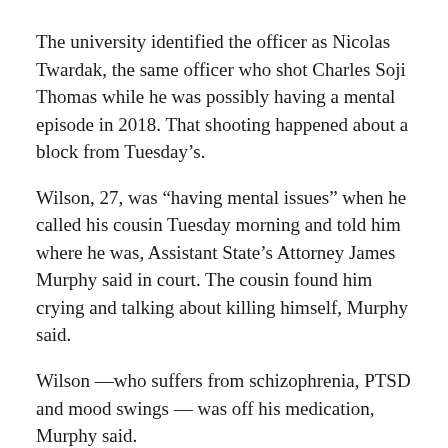The university identified the officer as Nicolas Twardak, the same officer who shot Charles Soji Thomas while he was possibly having a mental episode in 2018. That shooting happened about a block from Tuesday’s.
Wilson, 27, was “having mental issues” when he called his cousin Tuesday morning and told him where he was, Assistant State’s Attorney James Murphy said in court. The cousin found him crying and talking about killing himself, Murphy said.
Wilson —who suffers from schizophrenia, PTSD and mood swings — was off his medication, Murphy said.
Wilson ran away from his cousin, pulled out a gun and